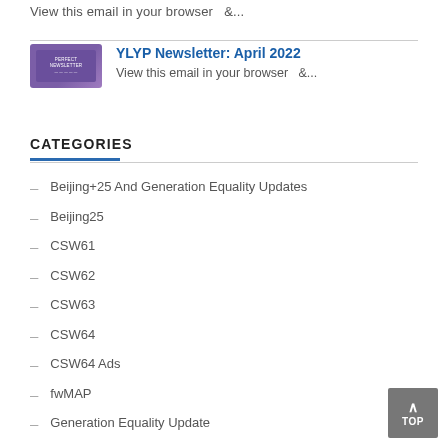View this email in your browser   &...
[Figure (illustration): Purple newsletter thumbnail image labeled 'YLYP Newsletter']
YLYP Newsletter: April 2022
View this email in your browser   &...
CATEGORIES
Beijing+25 And Generation Equality Updates
Beijing25
CSW61
CSW62
CSW63
CSW64
CSW64 Ads
fwMAP
Generation Equality Update